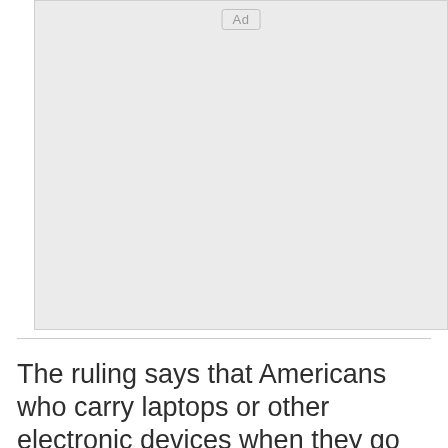[Figure (other): Advertisement placeholder box with 'Ad' label button centered at the top]
The ruling says that Americans who carry laptops or other electronic devices when they go out in public have some expectation that